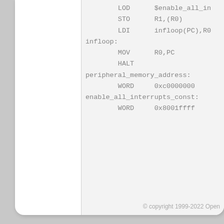LOD $enable_all_in
        STO R1,(R0)
        LDI infloop(PC),R0
infloop:
        MOV R0,PC
        HALT
peripheral_memory_address:
        WORD 0xc0000000
enable_all_interrupts_const:
        WORD 0x8001ffff
© copyright 1999-2022 Open